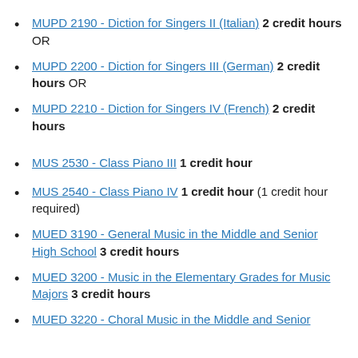MUPD 2190 - Diction for Singers II (Italian) 2 credit hours OR
MUPD 2200 - Diction for Singers III (German) 2 credit hours OR
MUPD 2210 - Diction for Singers IV (French) 2 credit hours
MUS 2530 - Class Piano III 1 credit hour
MUS 2540 - Class Piano IV 1 credit hour (1 credit hour required)
MUED 3190 - General Music in the Middle and Senior High School 3 credit hours
MUED 3200 - Music in the Elementary Grades for Music Majors 3 credit hours
MUED 3220 - Choral Music in the Middle and Senior